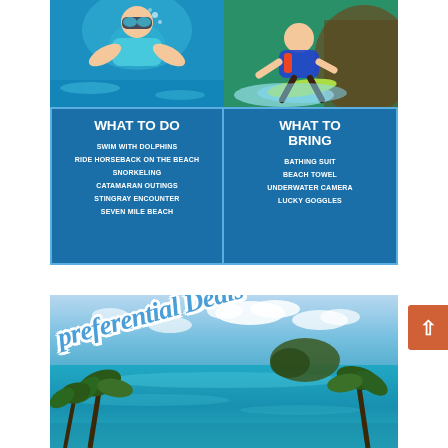[Figure (infographic): Top section showing two water activity photos side by side (snorkeling and water skiing), followed by a two-column blue information box with 'WHAT TO DO' and 'WHAT TO BRING' sections listing water activities and items to bring.]
[Figure (photo): Bottom tropical beach photo showing turquoise water, blue sky with clouds, an island in the distance, and palm trees, with 'preferential Deals' text overlaid in italic blue font with white outline, styled at an angle. An orange scroll-to-top button appears on the right.]